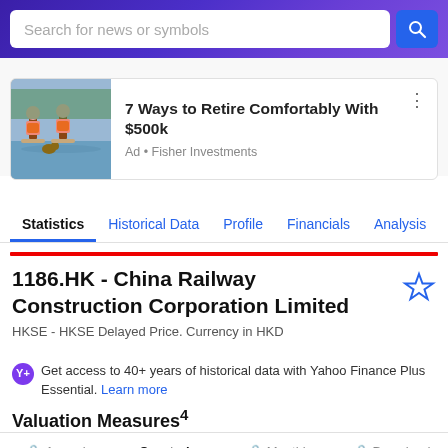[Figure (screenshot): Search bar with purple gradient background, white input field saying 'Search for news or symbols', and blue search button with magnifying glass icon]
[Figure (photo): Advertisement image showing two people paddleboarding with a dog]
7 Ways to Retire Comfortably With $500k
Ad • Fisher Investments
Statistics | Historical Data | Profile | Financials | Analysis
1186.HK - China Railway Construction Corporation Limited
HKSE - HKSE Delayed Price. Currency in HKD
Get access to 40+ years of historical data with Yahoo Finance Plus Essential. Learn more
Valuation Measures⁴
Annual | Quarterly | Monthly | Download